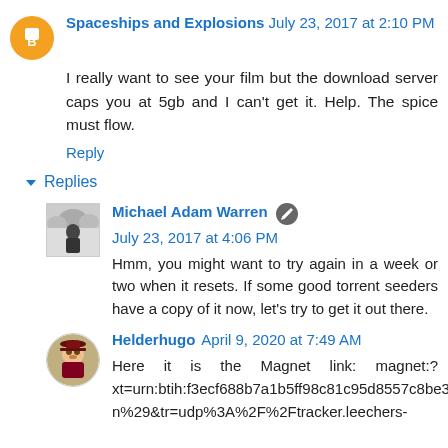Spaceships and Explosions  July 23, 2017 at 2:10 PM
I really want to see your film but the download server caps you at 5gb and I can't get it. Help. The spice must flow.
Reply
Replies
Michael Adam Warren  July 23, 2017 at 4:06 PM
Hmm, you might want to try again in a week or two when it resets. If some good torrent seeders have a copy of it now, let's try to get it out there.
Helderhugo  April 9, 2020 at 7:49 AM
Here it is the Magnet link: magnet:?xt=urn:btih:f3ecf688b7a1b5ff98c81c95d8557c8be36cd61d&dn=Dune%3A+The+Complete+Saga+v3.0+%28HD+Remastered+by+Michael+Warren%29&tr=udp%3A%2F%2Ftracker.leechers-